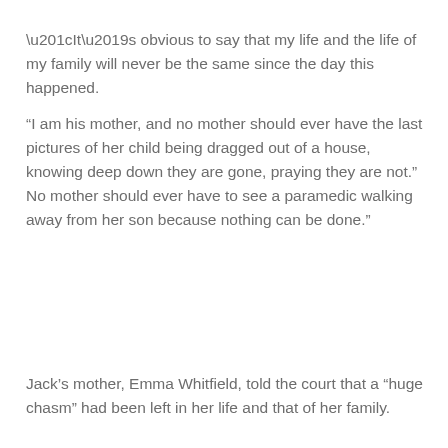“It’s obvious to say that my life and the life of my family will never be the same since the day this happened.
“I am his mother, and no mother should ever have the last pictures of her child being dragged out of a house, knowing deep down they are gone, praying they are not.” No mother should ever have to see a paramedic walking away from her son because nothing can be done.”
Jack’s mother, Emma Whitfield, told the court that a “huge chasm” had been left in her life and that of her family.